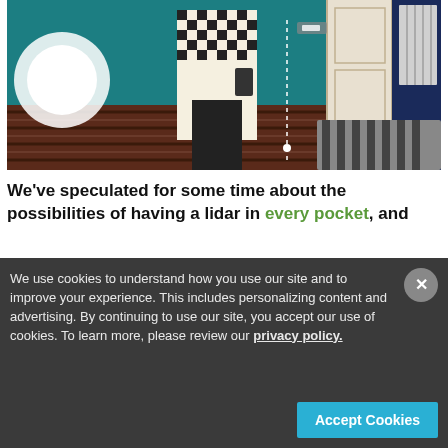[Figure (photo): Person in a black and white checkered shirt standing in a teal/dark green room holding a phone, with a bright light source on the left, a striped rug on the floor, a white door and radiator on the right, and a bed visible in the bottom right corner. A dotted vertical line with markers is overlaid on the image.]
We've speculated for some time about the possibilities of having a lidar in every pocket, and
We use cookies to understand how you use our site and to improve your experience. This includes personalizing content and advertising. By continuing to use our site, you accept our use of cookies. To learn more, please review our privacy policy.
Accept Cookies